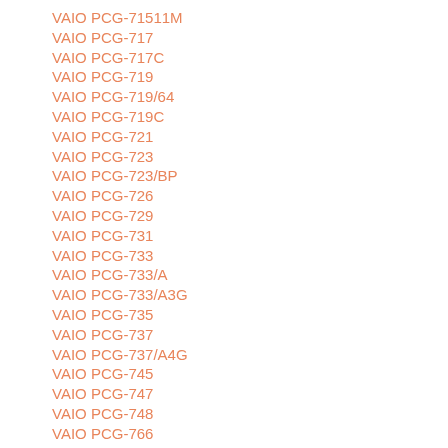VAIO PCG-71511M
VAIO PCG-717
VAIO PCG-717C
VAIO PCG-719
VAIO PCG-719/64
VAIO PCG-719C
VAIO PCG-721
VAIO PCG-723
VAIO PCG-723/BP
VAIO PCG-726
VAIO PCG-729
VAIO PCG-731
VAIO PCG-733
VAIO PCG-733/A
VAIO PCG-733/A3G
VAIO PCG-735
VAIO PCG-737
VAIO PCG-737/A4G
VAIO PCG-745
VAIO PCG-747
VAIO PCG-748
VAIO PCG-766
VAIO PCG-766/BP
VAIO PCG-766BP
VAIO PCG-767
VAIO PCG-777
VAIO PCG-777/BP